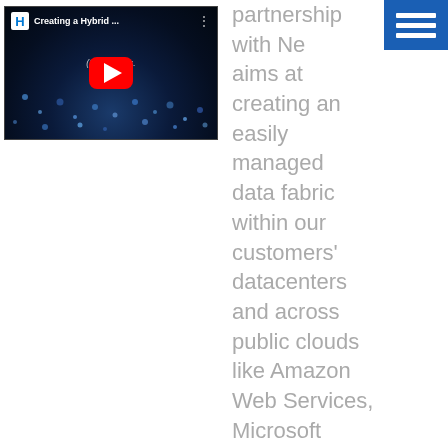[Figure (screenshot): YouTube video thumbnail showing 'Creating a Hybrid...' video with dark background and audience, red play button, subtitle text '(It's y... ouds. Ya... ly.)']
partnership with Ne... aims at creating an easily managed data fabric within our customers' datacenters and across public clouds like Amazon Web Services, Microsoft Azure, Google Cloud and more. In